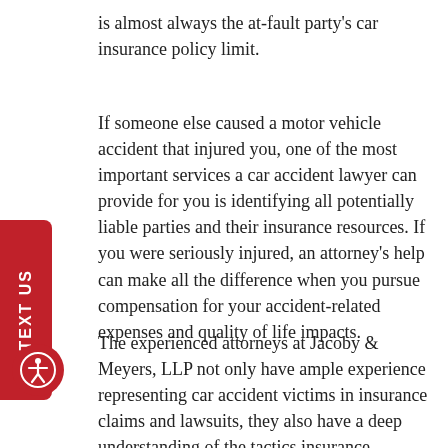is almost always the at-fault party's car insurance policy limit.
If someone else caused a motor vehicle accident that injured you, one of the most important services a car accident lawyer can provide for you is identifying all potentially liable parties and their insurance resources. If you were seriously injured, an attorney's help can make all the difference when you pursue compensation for your accident-related expenses and quality of life impacts.
The experienced attorneys at Jacoby & Meyers, LLP not only have ample experience representing car accident victims in insurance claims and lawsuits, they also have a deep understanding of the tactics insurance